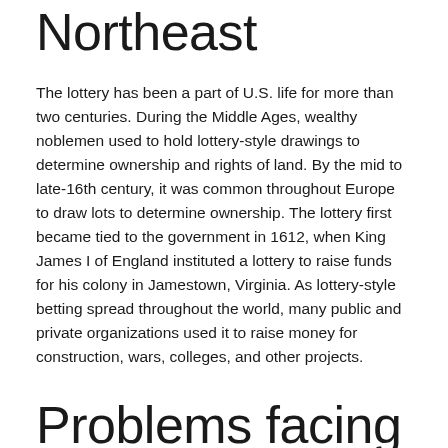Northeast
The lottery has been a part of U.S. life for more than two centuries. During the Middle Ages, wealthy noblemen used to hold lottery-style drawings to determine ownership and rights of land. By the mid to late-16th century, it was common throughout Europe to draw lots to determine ownership. The lottery first became tied to the government in 1612, when King James I of England instituted a lottery to raise funds for his colony in Jamestown, Virginia. As lottery-style betting spread throughout the world, many public and private organizations used it to raise money for construction, wars, colleges, and other projects.
Problems facing the lottery industry
Aside from generating tax revenue, the lottery also has a